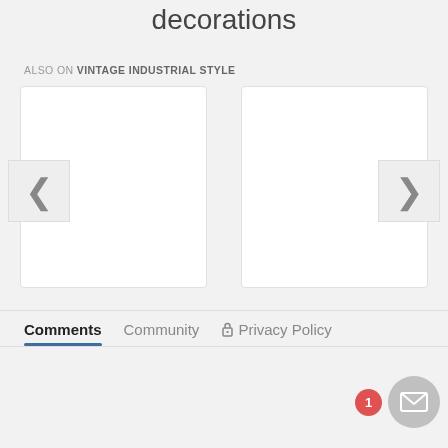decorations
ALSO ON VINTAGE INDUSTRIAL STYLE
[Figure (screenshot): Two white card panels side by side with a left chevron arrow on the left side and a right chevron arrow on the right side, part of a content carousel]
Comments  Community  Privacy Policy
[Figure (other): Notification badge with number 1 and a circular mail/message button in the bottom right corner]